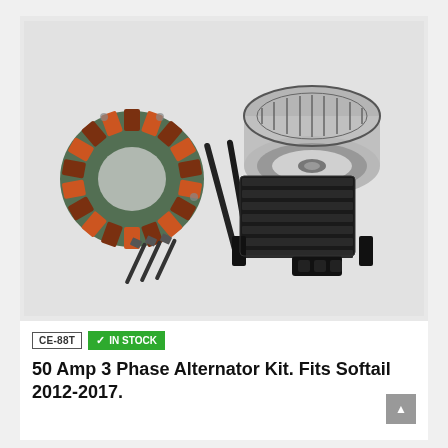[Figure (photo): Product photo of a 50 Amp 3 Phase Alternator Kit showing stator (ring with copper windings), rotor (metal cylinder/flywheel), voltage regulator (black finned rectangular module), bolts, screws, and cable ties, all on a light gray background.]
CE-88T
✓ IN STOCK
50 Amp 3 Phase Alternator Kit. Fits Softail 2012-2017.